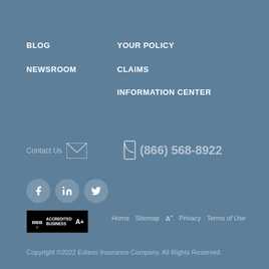BLOG
NEWSROOM
YOUR POLICY
CLAIMS
INFORMATION CENTER
Contact Us  (866) 568-8922
[Figure (logo): BBB Accredited Business A+ logo badge]
Home  Sitemap  A+  Privacy  Terms of Use
Copyright ©2022 Edison Insurance Company. All Rights Reserved.